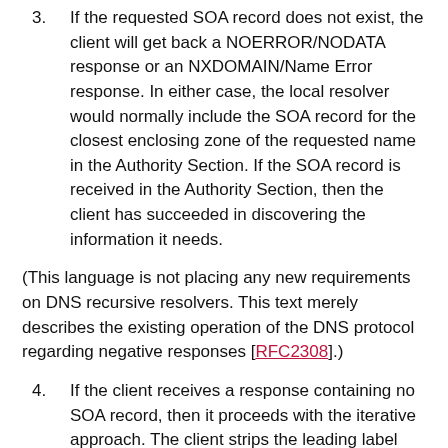3. If the requested SOA record does not exist, the client will get back a NOERROR/NODATA response or an NXDOMAIN/Name Error response. In either case, the local resolver would normally include the SOA record for the closest enclosing zone of the requested name in the Authority Section. If the SOA record is received in the Authority Section, then the client has succeeded in discovering the information it needs.
(This language is not placing any new requirements on DNS recursive resolvers. This text merely describes the existing operation of the DNS protocol regarding negative responses [RFC2308].)
4. If the client receives a response containing no SOA record, then it proceeds with the iterative approach. The client strips the leading label from the current query name, and if the resulting name has at least two labels in it, then the client sends an SOA query for that new name and processing continues at step 3 above.